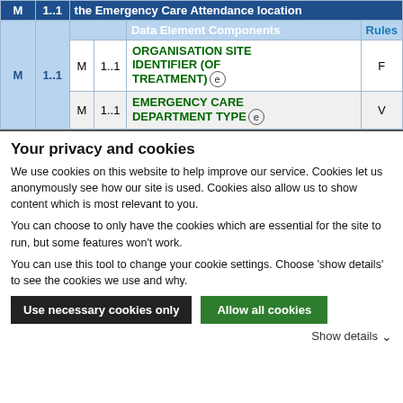| M | 1..1 | the Emergency Care Attendance location |  |
| --- | --- | --- | --- |
| M | 1..1 | Data Element Components | Rules |
| M | 1..1 | ORGANISATION SITE IDENTIFIER (OF TREATMENT) e | F |
| M | 1..1 | EMERGENCY CARE DEPARTMENT TYPE e | V |
Your privacy and cookies
We use cookies on this website to help improve our service.  Cookies let us anonymously see how our site is used.  Cookies also allow us to show content which is most relevant to you.
You can choose to only have the cookies which are essential for the site to run, but some features won't work.
You can use this tool to change your cookie settings. Choose 'show details' to see the cookies we use and why.